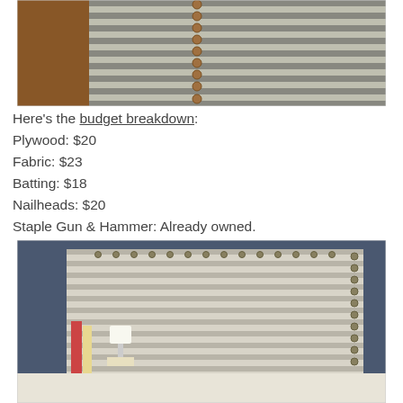[Figure (photo): Close-up photo of a striped fabric headboard with nailhead trim down the center, showing gray and white horizontal stripes.]
Here's the budget breakdown:
Plywood: $20
Fabric: $23
Batting: $18
Nailheads: $20
Staple Gun & Hammer: Already owned.
TOTAL: $81
[Figure (photo): Photo of a finished DIY upholstered headboard with horizontal white/gray stripes and nailhead trim on the right side, mounted behind a bed with a lamp and bookshelf visible.]